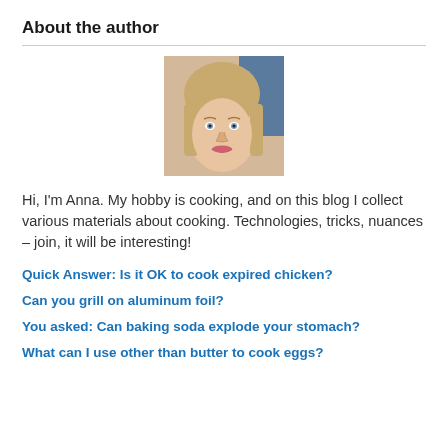About the author
[Figure (photo): Headshot photo of a young blonde woman with bangs, smiling, against a light background with a partial blue background visible]
Hi, I'm Anna. My hobby is cooking, and on this blog I collect various materials about cooking. Technologies, tricks, nuances – join, it will be interesting!
Quick Answer: Is it OK to cook expired chicken?
Can you grill on aluminum foil?
You asked: Can baking soda explode your stomach?
What can I use other than butter to cook eggs?